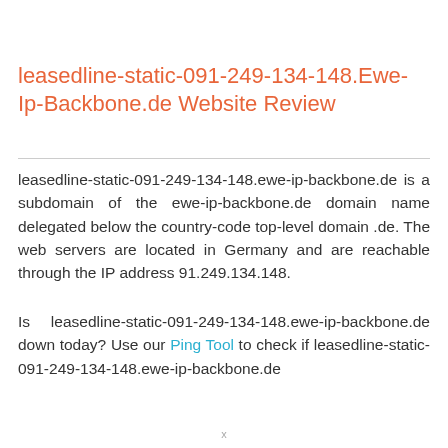leasedline-static-091-249-134-148.Ewe-Ip-Backbone.de Website Review
leasedline-static-091-249-134-148.ewe-ip-backbone.de is a subdomain of the ewe-ip-backbone.de domain name delegated below the country-code top-level domain .de. The web servers are located in Germany and are reachable through the IP address 91.249.134.148.
Is leasedline-static-091-249-134-148.ewe-ip-backbone.de down today? Use our Ping Tool to check if leasedline-static-091-249-134-148.ewe-ip-backbone.de